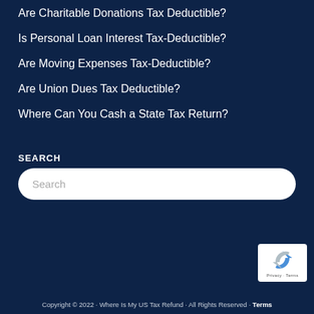Are Charitable Donations Tax Deductible?
Is Personal Loan Interest Tax-Deductible?
Are Moving Expenses Tax-Deductible?
Are Union Dues Tax Deductible?
Where Can You Cash a State Tax Return?
SEARCH
Search
[Figure (other): reCAPTCHA badge with recycling arrow icon and Privacy - Terms text]
Copyright © 2022 · Where Is My US Tax Refund · All Rights Reserved · Terms